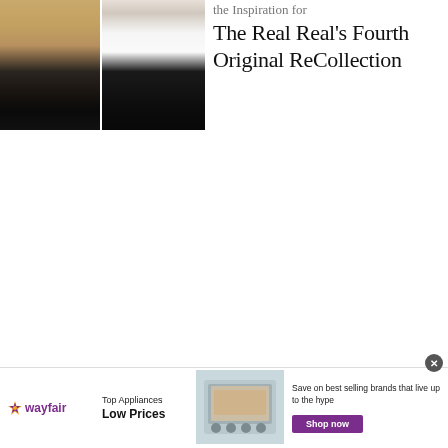[Figure (photo): Two fashion photos side by side: left shows a woman in tan/camel outfit seated, right shows a person in dark navy skirt with black bag]
the Inspiration for The Real Real's Fourth Original ReCollection
[Figure (infographic): Wayfair advertisement banner: 'Top Appliances Low Prices' with image of a range stove and 'Save on best selling brands that live up to the hype' with a purple Shop now button]